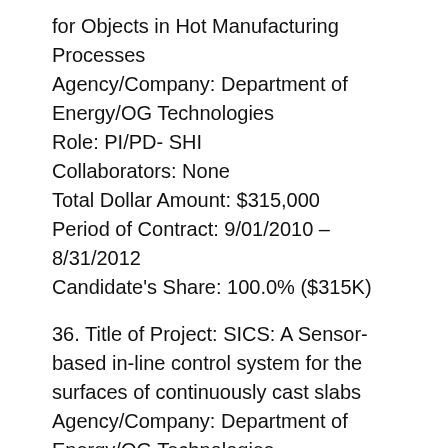for Objects in Hot Manufacturing Processes
Agency/Company: Department of Energy/OG Technologies
Role: PI/PD- SHI
Collaborators: None
Total Dollar Amount: $315,000
Period of Contract: 9/01/2010 – 8/31/2012
Candidate's Share: 100.0% ($315K)
36. Title of Project: SICS: A Sensor-based in-line control system for the surfaces of continuously cast slabs
Agency/Company: Department of Energy/OG Technologies
Role: PI/PD- SHI
Collaborators: None
Total Dollar Amount: $215,000
Period of Contract: 9/01/2010 – 8/31/2013